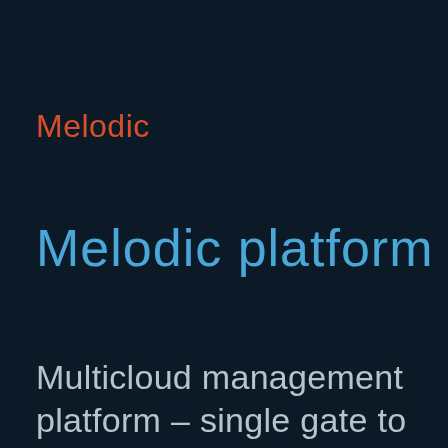Melodic
Melodic platform
Multicloud management platform – single gate to